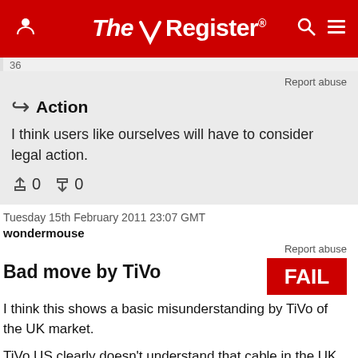The Register
36
Report abuse
Action
I think users like ourselves will have to consider legal action.
0  0
Tuesday 15th February 2011 23:07 GMT
wondermouse
Report abuse
Bad move by TiVo
[Figure (illustration): Red FAIL badge/stamp]
I think this shows a basic misunderstanding by TiVo of the UK market.
TiVo US clearly doesn't understand that cable in the UK is not universally available, unlike in the US. Getting a